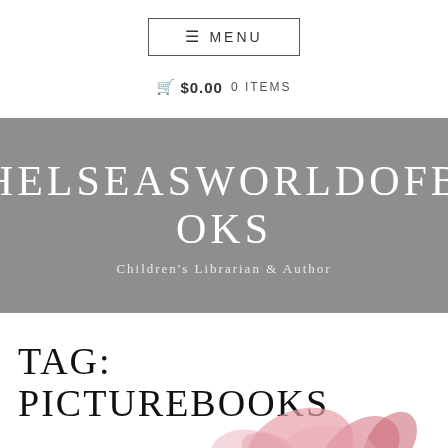≡ MENU
🛒 $0.00  0 ITEMS
CHELSEASWORLDOFBOOKS
Children's Librarian & Author
TAG: PICTUREBOOKS
[Figure (illustration): Pink flower petals at the bottom of the page]